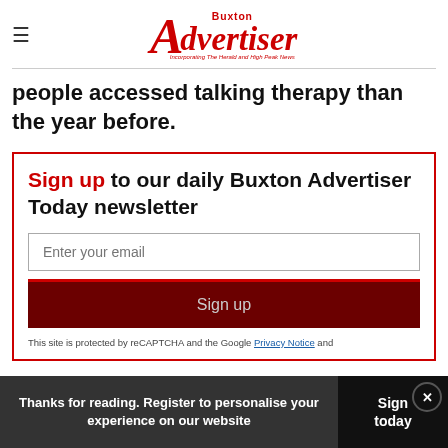Buxton Advertiser — Incorporating The Herald and High Peak News
people accessed talking therapy than the year before.
Sign up to our daily Buxton Advertiser Today newsletter
Enter your email
Sign up
This site is protected by reCAPTCHA and the Google Privacy Notice and Terms of Service apply.
Thanks for reading. Register to personalise your experience on our website
Sign today